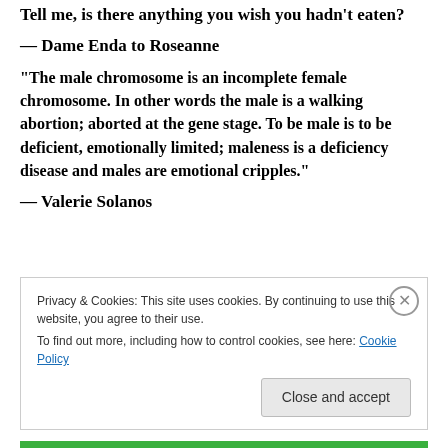Tell me, is there anything you wish you hadn't eaten?
— Dame Enda to Roseanne
“The male chromosome is an incomplete female chromosome. In other words the male is a walking abortion; aborted at the gene stage. To be male is to be deficient, emotionally limited; maleness is a deficiency disease and males are emotional cripples.”
— Valerie Solanos
Privacy & Cookies: This site uses cookies. By continuing to use this website, you agree to their use.
To find out more, including how to control cookies, see here: Cookie Policy
Close and accept